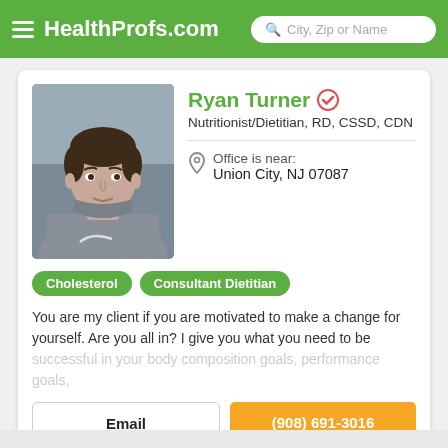HealthProfs.com
[Figure (photo): Professional headshot of Ryan Turner, a man wearing a grey Nike hoodie, photographed outdoors]
Ryan Turner
Nutritionist/Dietitian, RD, CSSD, CDN
Office is near: Union City, NJ 07087
Cholesterol
Consultant Dietitian
You are my client if you are motivated to make a change for yourself. Are you all in? I give you what you need to be successful in your body composition goals, performance goals,
Email
(908) 691-3016